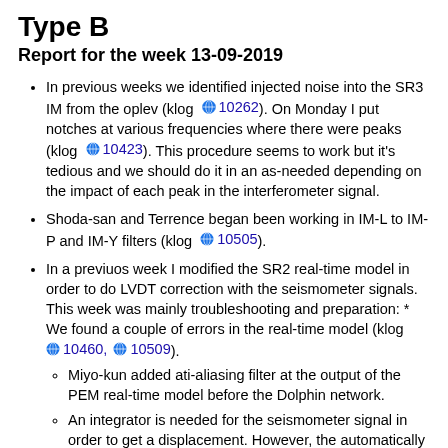Type B
Report for the week 13-09-2019
In previous weeks we identified injected noise into the SR3 IM from the oplev (klog 10262). On Monday I put notches at various frequencies where there were peaks (klog 10423). This procedure seems to work but it's tedious and we should do it in an as-needed depending on the impact of each peak in the interferometer signal.
Shoda-san and Terrence began been working in IM-L to IM-P and IM-Y filters (klog 10505).
In a previuos week I modified the SR2 real-time model in order to do LVDT correction with the seismometer signals. This week was mainly troubleshooting and preparation: * We found a couple of errors in the real-time model (klog 10460, 10509).
Miyo-kun added ati-aliasing filter at the output of the PEM real-time model before the Dolphin network.
An integrator is needed for the seismometer signal in order to get a displacement. However, the automatically generated medm screen points to a different filter bank (klog 10510). This hasn't been fixed yet.